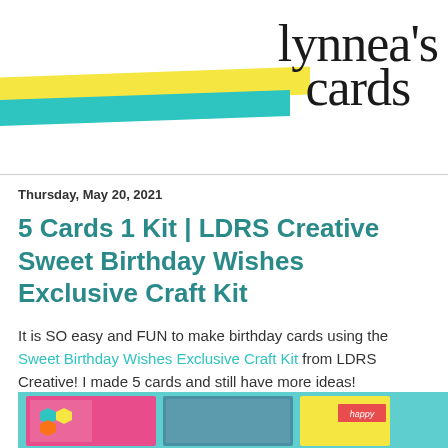lynnea's cards
Thursday, May 20, 2021
5 Cards 1 Kit | LDRS Creative Sweet Birthday Wishes Exclusive Craft Kit
It is SO easy and FUN to make birthday cards using the Sweet Birthday Wishes Exclusive Craft Kit from LDRS Creative! I made 5 cards and still have more ideas!
[Figure (photo): Partial view of colorful birthday cards made from the LDRS Creative Sweet Birthday Wishes Exclusive Craft Kit, showing bright teal background with colorful card designs]